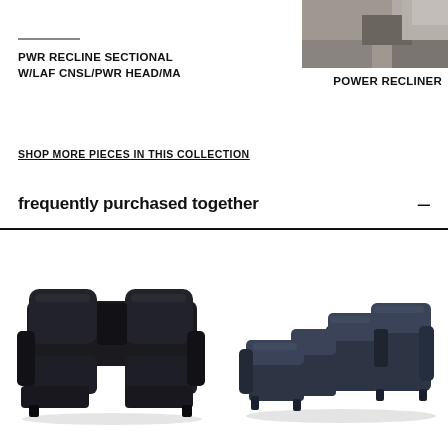[Figure (photo): Partially visible dark sofa/sectional image cropped at top-left]
[Figure (photo): Partially visible power recliner chair image at top-right corner]
PWR RECLINE SECTIONAL W/LAF CNSL/PWR HEAD/MA
POWER RECLINER
SHOP MORE PIECES IN THIS COLLECTION
frequently purchased together
[Figure (photo): Dark leather power reclining loveseat with center console]
[Figure (photo): Dark blue/gray fabric power reclining sectional sofa]